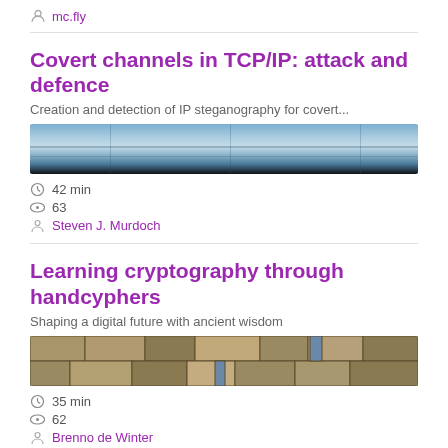mc.fly
Covert channels in TCP/IP: attack and defence
Creation and detection of IP steganography for covert...
[Figure (photo): Thumbnail image showing a horizontal blueish/grey graphic with faint lines, representing a network/TCP visualization]
42 min
63
Steven J. Murdoch
Learning cryptography through handcyphers
Shaping a digital future with ancient wisdom
[Figure (photo): Thumbnail image showing a stone/masonry wall texture with vertical joints]
35 min
62
Brenno de Winter